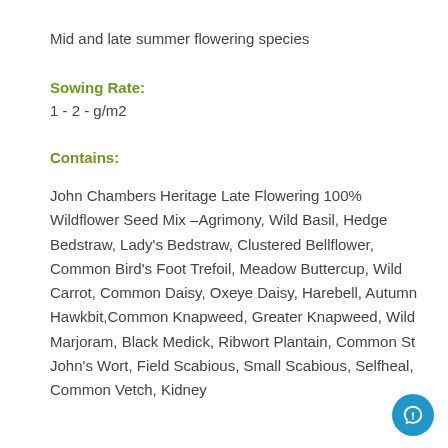Mid and late summer flowering species
Sowing Rate:
1 - 2 - g/m2
Contains:
John Chambers Heritage Late Flowering 100% Wildflower Seed Mix –Agrimony, Wild Basil, Hedge Bedstraw, Lady's Bedstraw, Clustered Bellflower, Common Bird's Foot Trefoil, Meadow Buttercup, Wild Carrot, Common Daisy, Oxeye Daisy, Harebell, Autumn Hawkbit,Common Knapweed, Greater Knapweed, Wild Marjoram, Black Medick, Ribwort Plantain, Common St John's Wort, Field Scabious, Small Scabious, Selfheal, Common Vetch, Kidney